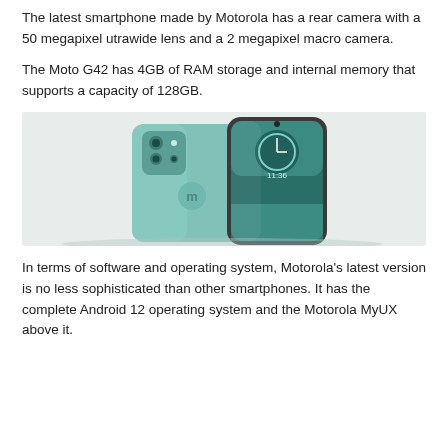The latest smartphone made by Motorola has a rear camera with a 50 megapixel utrawide lens and a 2 megapixel macro camera.
The Moto G42 has 4GB of RAM storage and internal memory that supports a capacity of 128GB.
[Figure (photo): Motorola Moto G42 smartphone shown from back and front angles in teal/mint green color against a light grey background]
In terms of software and operating system, Motorola's latest version is no less sophisticated than other smartphones. It has the complete Android 12 operating system and the Motorola MyUX above it.